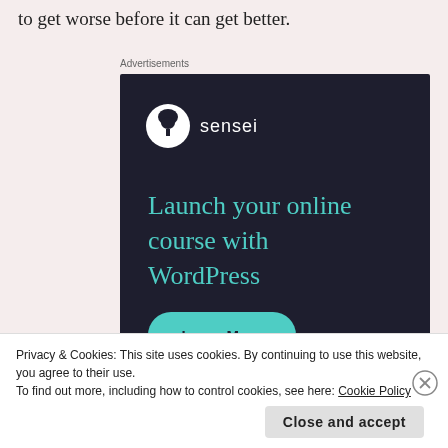to get worse before it can get better.
Advertisements
[Figure (illustration): Sensei advertisement with dark navy background. Shows Sensei logo (tree icon in white circle with 'sensei' text), headline 'Launch your online course with WordPress' in teal, a 'Learn More' button in teal/green, and 'Powered by WordPress.com' at the bottom.]
Privacy & Cookies: This site uses cookies. By continuing to use this website, you agree to their use.
To find out more, including how to control cookies, see here: Cookie Policy
Close and accept